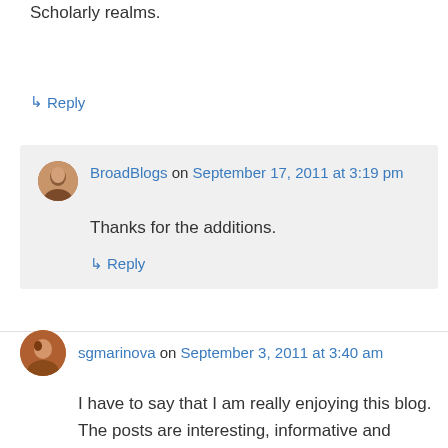Scholarly realms.
↳ Reply
BroadBlogs on September 17, 2011 at 3:19 pm
Thanks for the additions.
↳ Reply
sgmarinova on September 3, 2011 at 3:40 am
I have to say that I am really enjoying this blog. The posts are interesting, informative and captivating. Thank you so much.